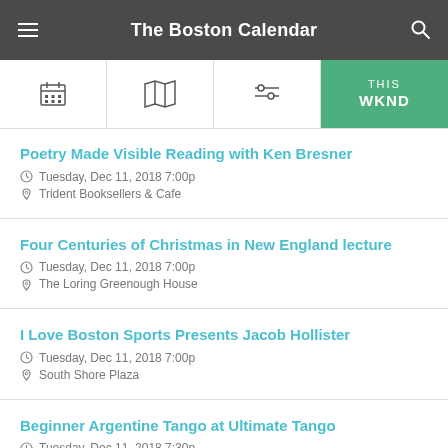The Boston Calendar
Poetry Made Visible Reading with Ken Bresner | Tuesday, Dec 11, 2018 7:00p | Trident Booksellers & Cafe
Four Centuries of Christmas in New England lecture | Tuesday, Dec 11, 2018 7:00p | The Loring Greenough House
I Love Boston Sports Presents Jacob Hollister | Tuesday, Dec 11, 2018 7:00p | South Shore Plaza
Beginner Argentine Tango at Ultimate Tango | Tuesday, Dec 11, 2018 7:30p | Ultimate Tango